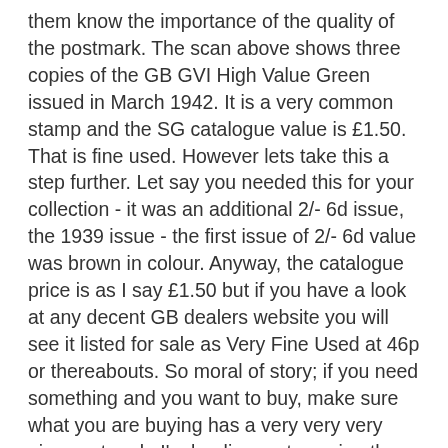them know the importance of the quality of the postmark. The scan above shows three copies of the GB GVI High Value Green issued in March 1942. It is a very common stamp and the SG catalogue value is £1.50. That is fine used. However lets take this a step further. Let say you needed this for your collection - it was an additional 2/- 6d issue, the 1939 issue - the first issue of 2/- 6d value was brown in colour. Anyway, the catalogue price is as I say £1.50 but if you have a look at any decent GB dealers website you will see it listed for sale as Very Fine Used at 46p or thereabouts. So moral of story; if you need something and you want to buy, make sure what you are buying has a very very very nice postmark. I'm leading up to saying there have been and probably still are many examples of this or whatever stamp you select for that matter that is for sale - on various auction sites - and the postmark is pretty average to aweful yet the listed price is the uneducated sellers view based perhaps on the catalogue. Use a reputable seller, or dealer web site. You will be very upset in times to come to find your purchase is not worth diddly squat!!!! Or, I cannot help myself, I have to add this, buy from my web site GB specials, or if a child or collecting for a child (eg your son or